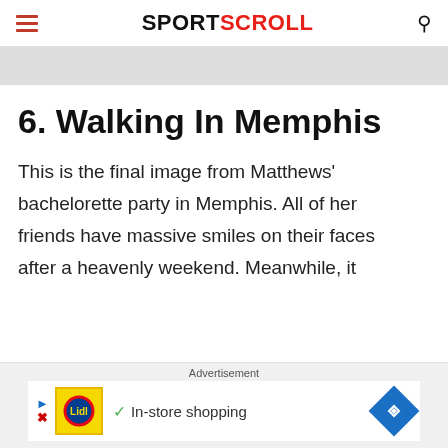SPORTSCROLL
6. Walking In Memphis
This is the final image from Matthews' bachelorette party in Memphis. All of her friends have massive smiles on their faces after a heavenly weekend. Meanwhile, it
Advertisement